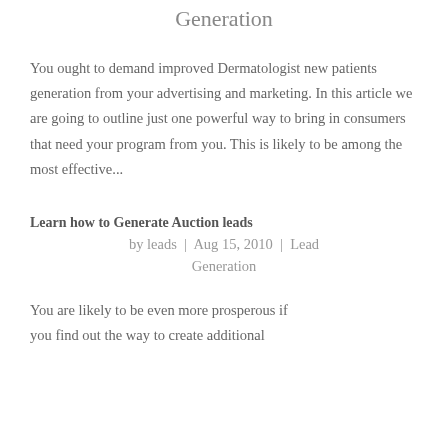Generation
You ought to demand improved Dermatologist new patients generation from your advertising and marketing. In this article we are going to outline just one powerful way to bring in consumers that need your program from you. This is likely to be among the most effective...
Learn how to Generate Auction leads
by leads  |  Aug 15, 2010  |  Lead Generation
You are likely to be even more prosperous if you find out the way to create additional